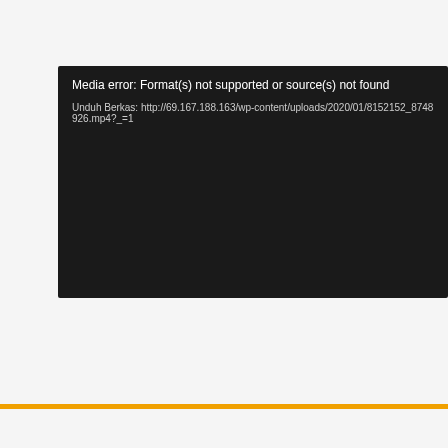[Figure (screenshot): Black media player error box showing 'Media error: Format(s) not supported or source(s) not found' and download link 'Unduh Berkas: http://69.167.188.163/wp-content/uploads/2020/01/8152152_8748926.mp4?_=1']
@2019 Id Pro Pkv Games
[Figure (infographic): Social sharing buttons: Facebook (blue f), Twitter (blue bird), Google+ (red g+), StumbleUpon (orange su), LinkedIn (teal in), Pinterest (red p)]
[Figure (infographic): Orange scroll-to-top button with up arrow chevron]